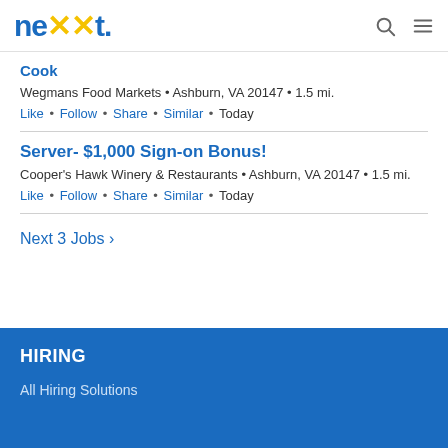nexxt
Cook
Wegmans Food Markets • Ashburn, VA 20147 • 1.5 mi.
Like • Follow • Share • Similar • Today
Server- $1,000 Sign-on Bonus!
Cooper's Hawk Winery & Restaurants • Ashburn, VA 20147 • 1.5 mi.
Like • Follow • Share • Similar • Today
Next 3 Jobs ▸
HIRING
All Hiring Solutions